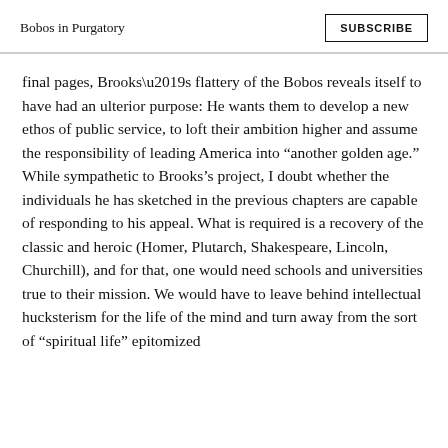Bobos in Purgatory | SUBSCRIBE
final pages, Brooks’s flattery of the Bobos reveals itself to have had an ulterior purpose: He wants them to develop a new ethos of public service, to loft their ambition higher and assume the responsibility of leading America into “another golden age.” While sympathetic to Brooks’s project, I doubt whether the individuals he has sketched in the previous chapters are capable of responding to his appeal. What is required is a recovery of the classic and heroic (Homer, Plutarch, Shakespeare, Lincoln, Churchill), and for that, one would need schools and universities true to their mission. We would have to leave behind intellectual hucksterism for the life of the mind and turn away from the sort of “spiritual life” epitomized